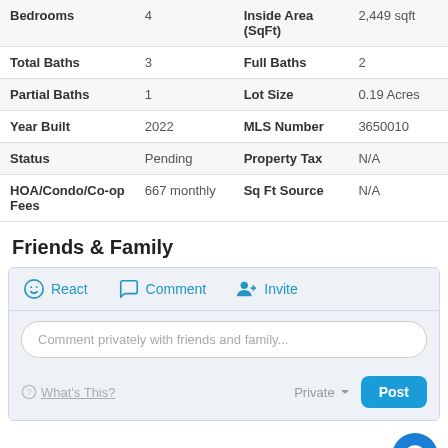| Bedrooms | 4 | Inside Area (SqFt) | 2,449 sqft |
| Total Baths | 3 | Full Baths | 2 |
| Partial Baths | 1 | Lot Size | 0.19 Acres |
| Year Built | 2022 | MLS Number | 3650010 |
| Status | Pending | Property Tax | N/A |
| HOA/Condo/Coop Fees | 667 monthly | Sq Ft Source | N/A |
Friends & Family
[Figure (screenshot): Friends & Family interaction widget with React, Comment, Invite buttons, comment input box, Private dropdown, and Post button]
Recent Activity